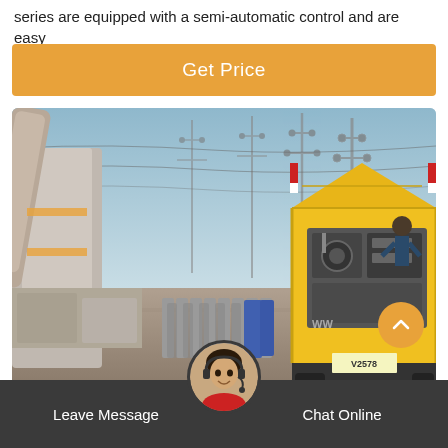series are equipped with a semi-automatic control and are easy
[Figure (other): Orange/amber banner button with text 'Get Price' for product inquiry]
[Figure (photo): Outdoor electrical substation with high-voltage transmission towers, gas cylinders on the ground, and a yellow service truck with open rear door showing equipment; worker visible; vehicle license plate V2578]
Leave Message
Chat Online
sf6 gas replacement New Zealand